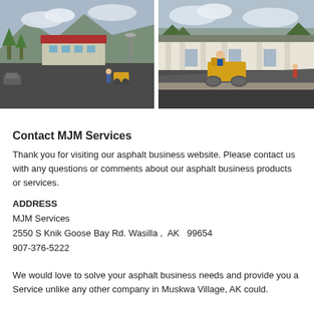[Figure (photo): Two side-by-side photos of asphalt paving work. Left photo shows an aerial/elevated view of a freshly paved parking lot or road area near a building with a red roof and mountains in background, with a yellow roller compactor visible. Right photo shows a yellow roller compactor working on a fresh asphalt surface in front of a white/beige commercial building.]
Contact MJM Services
Thank you for visiting our asphalt business website. Please contact us with any questions or comments about our asphalt business products or services.
ADDRESS
MJM Services
2550 S Knik Goose Bay Rd. Wasilla ,  AK   99654
907-376-5222
We would love to solve your asphalt business needs and provide you a Service unlike any other company in Muskwa Village, AK could.